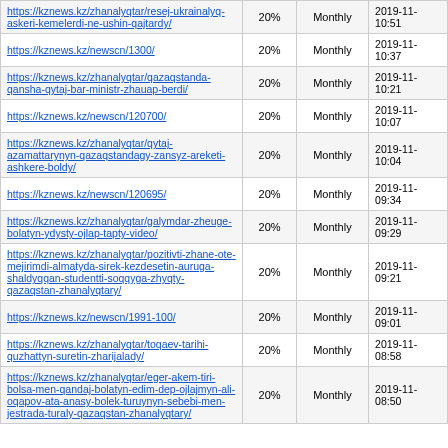| URL | % | Frequency | Last Modified |
| --- | --- | --- | --- |
| https://kznews.kz/zhanalyqtar/resej-ukrainalyq-askeri-kemelerdi-ne-ushin-qajtardy/ | 20% | Monthly | 2019-11-
10:51 |
| https://kznews.kz/newscn/1300/ | 20% | Monthly | 2019-11-
10:37 |
| https://kznews.kz/zhanalyqtar/qazaqstanda-qansha-qytaj-bar-ministr-zhauap-berdi/ | 20% | Monthly | 2019-11-
10:21 |
| https://kznews.kz/newscn/120700/ | 20% | Monthly | 2019-11-
10:07 |
| https://kznews.kz/zhanalyqtar/qytaj-azamattarynyn-qazaqstandagy-zansyz-areketi-ashkere-boldy/ | 20% | Monthly | 2019-11-
10:04 |
| https://kznews.kz/newscn/120695/ | 20% | Monthly | 2019-11-
09:34 |
| https://kznews.kz/zhanalyqtar/galymdar-zheuge-bolatyn-ydysty-ojlap-tapty-video/ | 20% | Monthly | 2019-11-
09:29 |
| https://kznews.kz/zhanalyqtar/pozitivti-zhane-ote-mejirimdi-almatyda-sirek-kezdesetin-auruga-shaldyqqan-studentti-soqqyga-zhyqty-qazaqstan-zhanalyqtary/ | 20% | Monthly | 2019-11-
09:21 |
| https://kznews.kz/newscn/1991-100/ | 20% | Monthly | 2019-11-
09:01 |
| https://kznews.kz/zhanalyqtar/toqaev-tarihi-quzhattyn-suretin-zharijalady/ | 20% | Monthly | 2019-11-
08:58 |
| https://kznews.kz/zhanalyqtar/eger-akem-tiri-bolsa-men-qandaj-bolatyn-edim-dep-ojlajmyn-ali-oqapov-ata-anasy-bolek-turuynyn-sebebi-men-jestrada-turaly-qazaqstan-zhanalyqtary/ | 20% | Monthly | 2019-11-
08:50 |